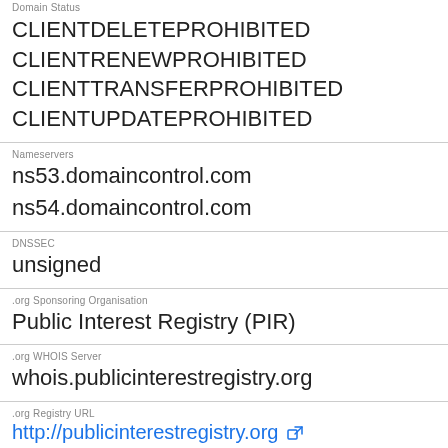Domain Status
CLIENTDELETEPROHIBITED
CLIENTRENEWPROHIBITED
CLIENTTRANSFERPROHIBITED
CLIENTUPDATEPROHIBITED
Nameservers
ns53.domaincontrol.com
ns54.domaincontrol.com
DNSSEC
unsigned
.org Sponsoring Organisation
Public Interest Registry (PIR)
.org WHOIS Server
whois.publicinterestregistry.org
.org Registry URL
http://publicinterestregistry.org
Where is Studiotamani.org Server Location?
The servers for example.com are located in Basel,